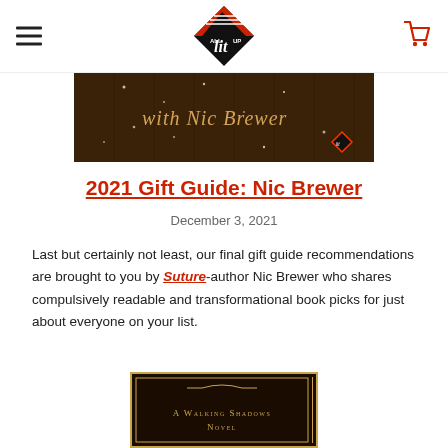All Lit Up — navigation header with logo, hamburger menu, and cart icon
[Figure (photo): Dark wood-textured banner image with the text 'with Nic Brewer' in gold italic script, with small light dots/sparkles and a small diamond logo in the lower right]
2021 Gift Guide: Nic Brewer
December 3, 2021
Last but certainly not least, our final gift guide recommendations are brought to you by Suture-author Nic Brewer who shares compulsively readable and transformational book picks for just about everyone on your list.
[Figure (photo): Partially visible dark book cover with gold decorative border, text reading 'A Walking Shadows Novel']